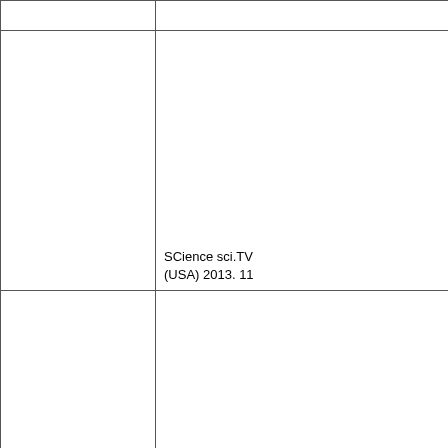|  |  |
|  | SCience sci.TV
(USA) 2013. 11 |
|  |  |